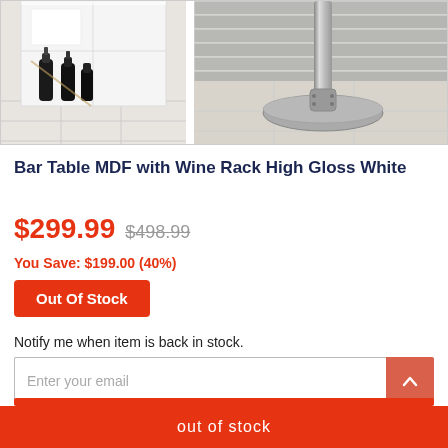[Figure (photo): Two product photos side by side: left shows a white bar cabinet with wine bottles stored in compartments; right shows the metal base/leg of a bar table on a tiled floor with brick wall background.]
Bar Table MDF with Wine Rack High Gloss White
$299.99  $498.99
You Save: $199.00 (40%)
Out Of Stock
Notify me when item is back in stock.
Enter your email
out of stock